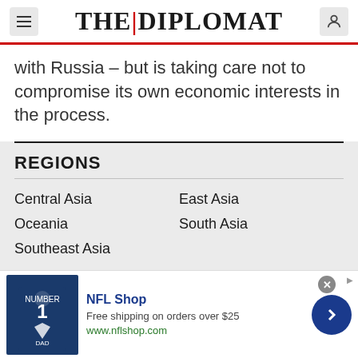THE DIPLOMAT
with Russia – but is taking care not to compromise its own economic interests in the process.
REGIONS
Central Asia
East Asia
Oceania
South Asia
Southeast Asia
[Figure (infographic): NFL Shop advertisement banner with football jersey image, text 'NFL Shop - Free shipping on orders over $25 - www.nflshop.com' and a blue circle arrow button]